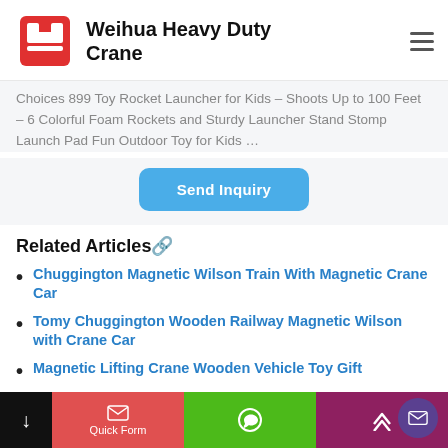Weihua Heavy Duty Crane
Choices 899 Toy Rocket Launcher for Kids – Shoots Up to 100 Feet – 6 Colorful Foam Rockets and Sturdy Launcher Stand Stomp Launch Pad Fun Outdoor Toy for Kids …
Send Inquiry
Related Articles🔗
Chuggington Magnetic Wilson Train With Magnetic Crane Car
Tomy Chuggington Wooden Railway Magnetic Wilson with Crane Car
Magnetic Lifting Crane Wooden Vehicle Toy Gift
Quick Form | WhatsApp | Up | Message